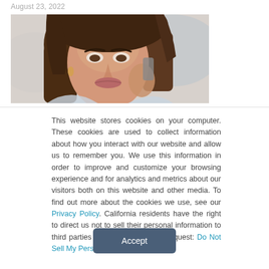August 23, 2022
[Figure (photo): A woman with long brown hair talking on a phone, close-up portrait shot]
This website stores cookies on your computer. These cookies are used to collect information about how you interact with our website and allow us to remember you. We use this information in order to improve and customize your browsing experience and for analytics and metrics about our visitors both on this website and other media. To find out more about the cookies we use, see our Privacy Policy. California residents have the right to direct us not to sell their personal information to third parties by filing an Opt-Out Request: Do Not Sell My Personal Info.
Accept